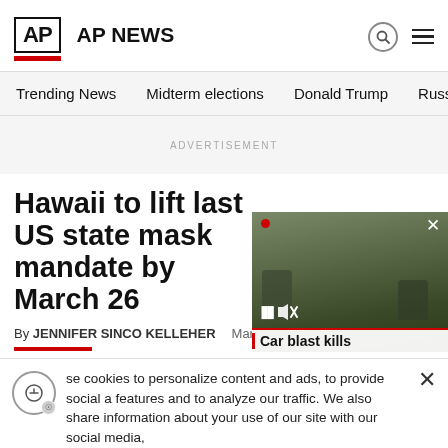AP NEWS
Trending News  Midterm elections  Donald Trump  Russia-Ukr
ADVERTISEMENT
Hawaii to lift last US state mask mandate by March 26
By JENNIFER SINCO KELLEHER   Mar
[Figure (screenshot): Video thumbnail overlay showing soldiers, with red record dot, pause and mute icons, close button, and caption text 'Car blast kills']
se cookies to personalize content and ads, to provide social a features and to analyze our traffic. We also share information about your use of our site with our social media,